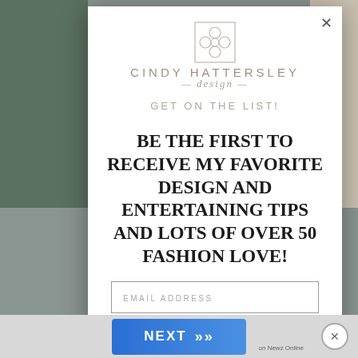[Figure (screenshot): Cindy Hattersley Design newsletter signup modal popup over a blurred website background. Modal contains logo, 'GET ON THE LIST!' subheading, main promotional text, and an email input field.]
GET ON THE LIST!
Be the first to receive my favorite design and entertaining tips and lots of over 50 fashion love!
EMAIL ADDRESS
NEXT »
on Newz Online